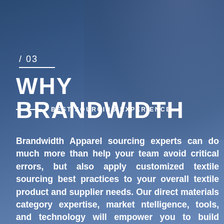/ 03
WHY BRANDWIDTH
BEST SOURCING EXPERIENCE
Brandwidth Apparel sourcing experts can do much more than help your team avoid critical errors, but also apply customized textile sourcing best practices to your overall textile product and supplier needs. Our direct materials category expertise, market ntelligence, tools, and technology will empower you to build optimal systems for sourcing textiles and textile components. Together, we'll help you select a strategic textile supplier